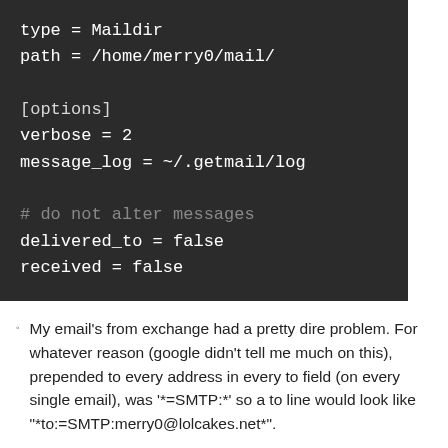[Figure (screenshot): Dark terminal/code block showing configuration file content: type = Maildir, path = /home/merry0/mail/, [options], verbose = 2, message_log = ~/.getmail/log, # do not alter messages, delivered_to = false, received = false]
My email's from exchange had a pretty dire problem. For whatever reason (google didn't tell me much on this), prepended to every address in every to field (on every single email), was '*=SMTP:*' so a to line would look like '*to:=SMTP:merry0@lolcakes.net*'.